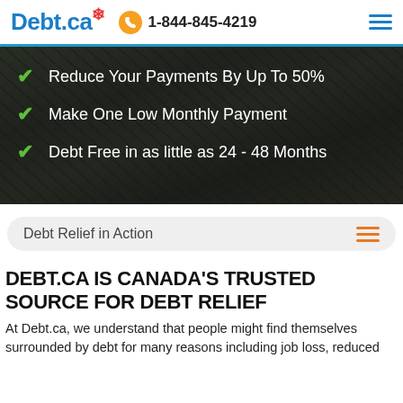Debt.ca  1-844-845-4219
[Figure (screenshot): Dark rocky background with three checklist items in white text on a semi-transparent dark overlay]
Reduce Your Payments By Up To 50%
Make One Low Monthly Payment
Debt Free in as little as 24 - 48 Months
Debt Relief in Action
DEBT.CA IS CANADA'S TRUSTED SOURCE FOR DEBT RELIEF
At Debt.ca, we understand that people might find themselves surrounded by debt for many reasons including job loss, reduced